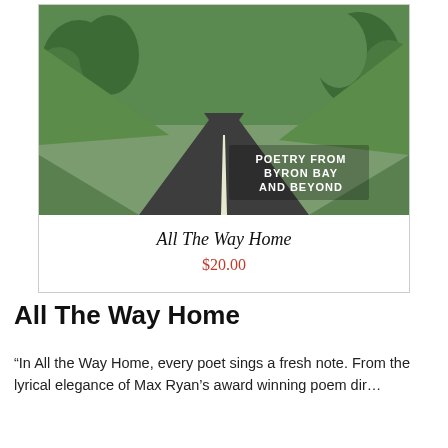[Figure (photo): Book cover photo showing a rural road stretching into the distance with green hills and trees on either side. Text on the road reads 'POETRY FROM BYRON BAY AND BEYOND'.]
All The Way Home
$20.00
All The Way Home
“In All the Way Home, every poet sings a fresh note. From the lyrical elegance of Max Ryan’s award winning poem dir…